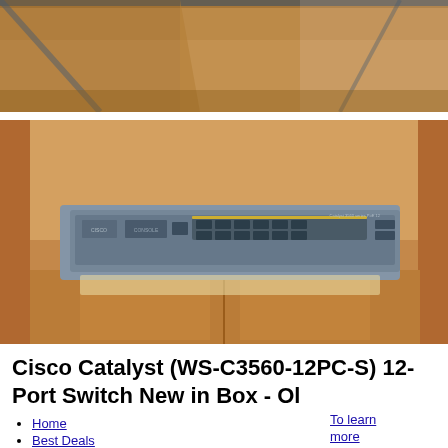[Figure (photo): Top portion of an open cardboard box, showing brown corrugated cardboard flaps from above.]
[Figure (photo): Open cardboard box viewed from above, containing a Cisco Catalyst network switch (WS-C3560-12PC-S) wrapped in clear plastic, showing the front panel with ports and labels.]
Cisco Catalyst (WS-C3560-12PC-S) 12-Port Switch New in Box - Ol
Home
Best Deals
Places to go
To learn more about the